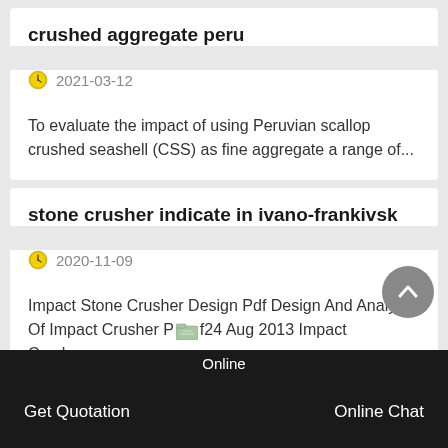crushed aggregate peru
2021-03-12
To evaluate the impact of using Peruvian scallop crushed seashell (CSS) as fine aggregate a range of...
stone crusher indicate in ivano-frankivsk
2020-11-09
Impact Stone Crusher Design Pdf Design And Analysis Of Impact Crusher Pdf24 Aug 2013 Impact Crusher...
Online   Get Quotation   Online Chat